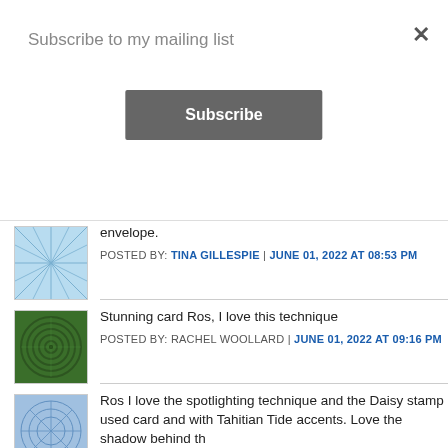Subscribe to my mailing list
Subscribe
envelope.
POSTED BY: TINA GILLESPIE | JUNE 01, 2022 AT 08:53 PM
Stunning card Ros, I love this technique
POSTED BY: RACHEL WOOLLARD | JUNE 01, 2022 AT 09:16 PM
Ros I love the spotlighting technique and the Daisy stamp used card and with Tahitian Tide accents. Love the shadow behind th
POSTED BY: ROSA LEYDEN | JUNE 01, 2022 AT 09:16 PM
Just stunning, Ros! The spotlighting technique looks so good wi colours really pop.
POSTED BY: CATHERINE PROCTOR | JUNE 01, 2022 AT 09:26 PM